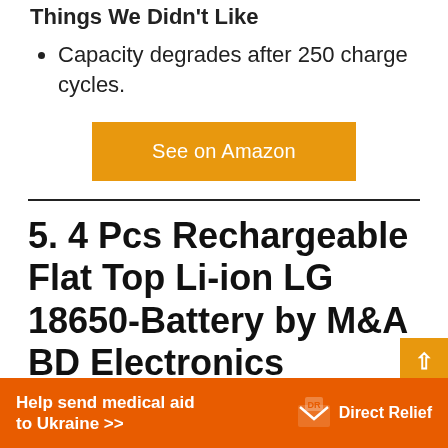Things We Didn't Like
Capacity degrades after 250 charge cycles.
[Figure (other): Orange 'See on Amazon' button]
5. 4 Pcs Rechargeable Flat Top Li-ion LG 18650-Battery by M&A BD Electronics
[Figure (other): Direct Relief advertisement banner: Help send medical aid to Ukraine >>]